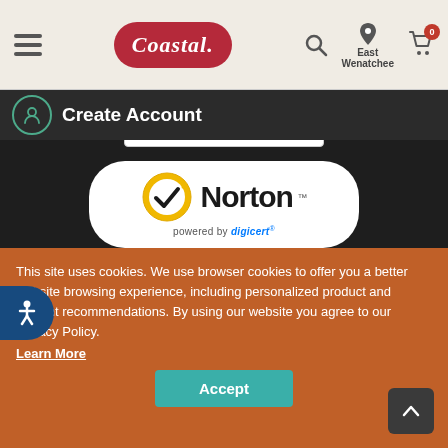Coastal - Create Account
Create Account
[Figure (logo): BBB Accredited Business badge with A+ rating]
[Figure (logo): Norton Secured powered by DigiCert badge with checkmark logo]
[Figure (logo): Payment method logos: VISA, Mastercard, American Express, Discover]
This site uses cookies. We use browser cookies to offer you a better website browsing experience, including personalized product and content recommendations. By using our website you agree to our Privacy Policy.
Learn More
Accept